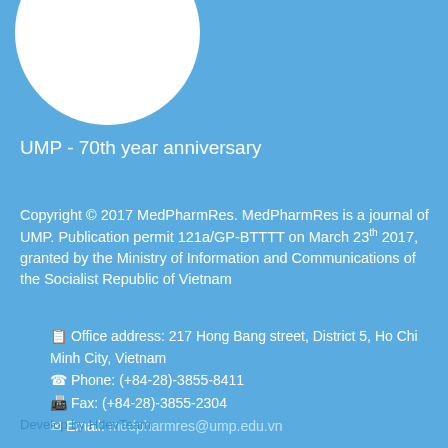[Figure (illustration): White circle logo partially visible at top left of page]
UMP - 70th year anniversary
Copyright © 2017 MedPharmRes. MedPharmRes is a journal of UMP. Publication permit 121a/GP-BTTTT on March 23th 2017, granted by the Ministry of Information and Communications of the Socialist Republic of Vietnam
Office address: 217 Hong Bang street, District 5, Ho Chi Minh City, Vietnam
Phone: (+84-28)-3855-8411
Fax: (+84-28)-3855-2304
Email: medpharmres@ump.edu.vn
Develop by HdevTeam